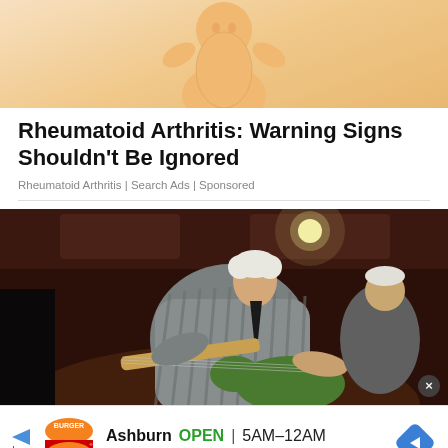[Figure (illustration): Cartoon-like illustration of a figure (partial view, cropped at top), warm orange/tan tones, visible at top of page]
Rheumatoid Arthritis: Warning Signs Shouldn't Be Ignored
Rheumatoid Arthritis | Search Ads | Sponsored
[Figure (photo): Photograph of an elderly man with white hair playing an electric guitar on stage, leaning forward, wearing a striped shirt. Another person visible in background. Dark indoor venue setting with ceiling lights.]
[Figure (infographic): Burger King advertisement banner showing logo, location 'Ashburn', hours 'OPEN 5AM-12AM', address '44091 Ashburn Shopping Plaza, Ashbu.' with navigation arrow icon]